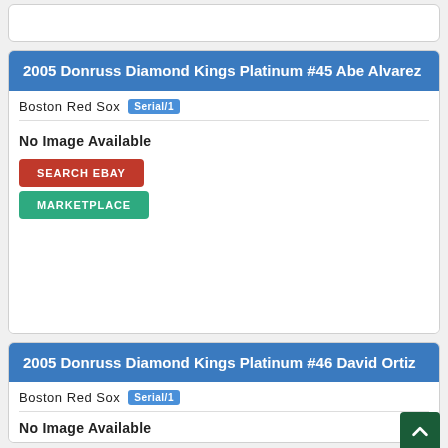2005 Donruss Diamond Kings Platinum #45 Abe Alvarez
Boston Red Sox Serial/1
No Image Available
SEARCH EBAY
MARKETPLACE
2005 Donruss Diamond Kings Platinum #46 David Ortiz
Boston Red Sox Serial/1
No Image Available